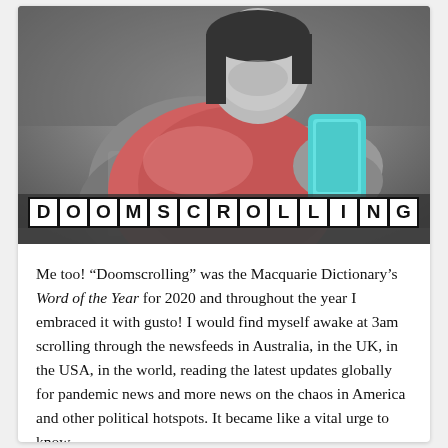[Figure (illustration): Black and white photo of a young woman hugging a large red/pink pillow and holding a cyan/blue smartphone, looking down at the phone. Overlaid at the bottom is the word DOOMSCROLLING in large scrabble-tile style letters (white tiles with black borders and bold black letters).]
Me too! “Doomscrolling” was the Macquarie Dictionary’s Word of the Year for 2020 and throughout the year I embraced it with gusto! I would find myself awake at 3am scrolling through the newsfeeds in Australia, in the UK, in the USA, in the world, reading the latest updates globally for pandemic news and more news on the chaos in America and other political hotspots. It became like a vital urge to know